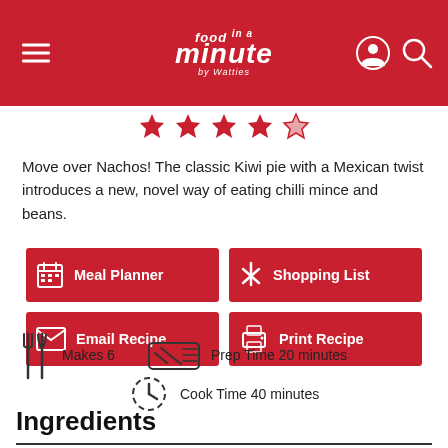food in a minute by Wattie's
[Figure (illustration): Five red stars rating]
Move over Nachos! The classic Kiwi pie with a Mexican twist introduces a new, novel way of eating chilli mince and beans.
[Figure (screenshot): Four action buttons: Meal Planner, Shopping List, Email Recipe, Print Recipe]
Makes 6   Prep Time 20 minutes   Cook Time 40 minutes
Ingredients